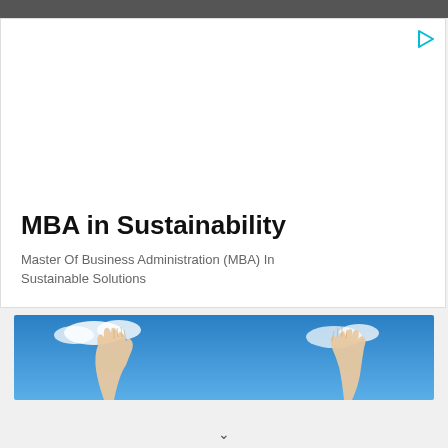MBA in Sustainability
Master Of Business Administration (MBA) In Sustainable Solutions
[Figure (photo): Two hands raised up against a blue sky with white clouds]